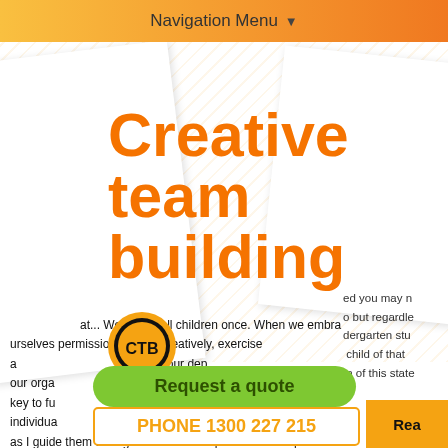Navigation Menu ▾
Creative team building
ed you may n
o but regardle
dergarten stu
child of that
n of this state
[Figure (logo): CTB circular logo with orange and black colors, letters CTB]
at... We where all children once. When we embra ourselves permission to think creatively, exercise a it for our dep our orga onal lives. Crea key to fu n I see countle individua connect with t as I guide them through our Art Masterpiece Workshop. If your team may need some guidance to unlock their...
Request a quote
PHONE 1300 227 215
Rea